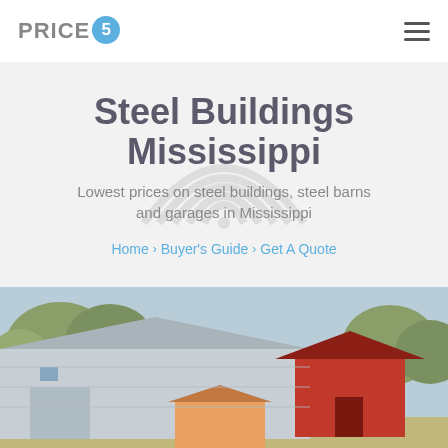[Figure (logo): PRICE5 logo with blue circle containing the number 5]
[Figure (other): Hamburger menu icon (three horizontal lines)]
Steel Buildings Mississippi
Lowest prices on steel buildings, steel barns and garages in Mississippi
Home > Buyer's Guide > Get A Quote
[Figure (photo): Photo of steel/metal buildings including a red barn and orange structure against a sky with trees]